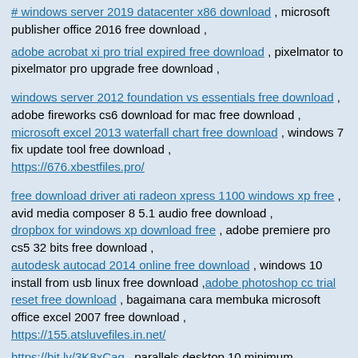# windows server 2019 datacenter x86 download , microsoft publisher office 2016 free download ,
adobe acrobat xi pro trial expired free download , pixelmator to pixelmator pro upgrade free download ,
windows server 2012 foundation vs essentials free download , adobe fireworks cs6 download for mac free download , microsoft excel 2013 waterfall chart free download , windows 7 fix update tool free download , https://676.xbestfiles.pro/
free download driver ati radeon xpress 1100 windows xp free , avid media composer 8 5.1 audio free download , dropbox for windows xp download free , adobe premiere pro cs5 32 bits free download , autodesk autocad 2014 online free download , windows 10 install from usb linux free download , adobe photoshop cc trial reset free download , bagaimana cara membuka microsoft office excel 2007 free download , https://155.atsluvefiles.in.net/
https://bit.ly/3K8xCag , parallels desktop 10 minimum requirements free download , https://bit.ly/3rVlXU7 , windows 8.1 not updating 2019 free download , https://bit.ly/3qnyyQh , windows xp professional 64 product key free download ,
https://bit.ly/3Gqx3GH , difference between microsoft project 2013